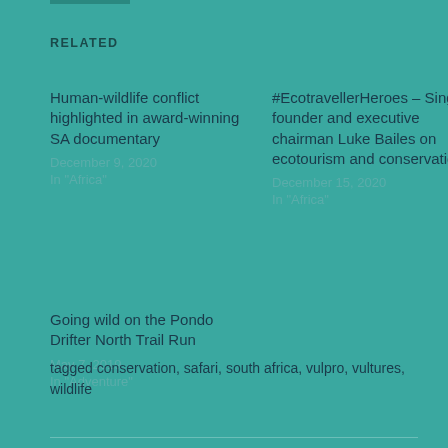RELATED
Human-wildlife conflict highlighted in award-winning SA documentary
December 9, 2020
In "Africa"
#EcotravellerHeroes – Singita founder and executive chairman Luke Bailes on ecotourism and conservation
December 15, 2020
In "Africa"
Going wild on the Pondo Drifter North Trail Run
May 7, 2019
In "Adventure"
tagged conservation, safari, south africa, vulpro, vultures, wildlife